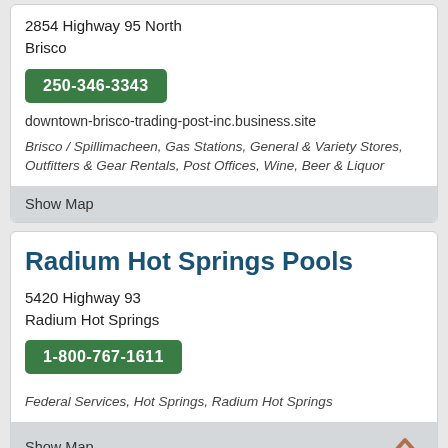2854 Highway 95 North
Brisco
250-346-3343
downtown-brisco-trading-post-inc.business.site
Brisco / Spillimacheen, Gas Stations, General & Variety Stores, Outfitters & Gear Rentals, Post Offices, Wine, Beer & Liquor
Show Map
Radium Hot Springs Pools
5420 Highway 93
Radium Hot Springs
1-800-767-1611
Federal Services, Hot Springs, Radium Hot Springs
Show Map